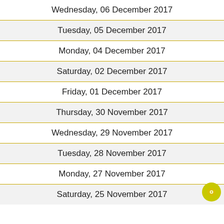Wednesday, 06 December 2017
Tuesday, 05 December 2017
Monday, 04 December 2017
Saturday, 02 December 2017
Friday, 01 December 2017
Thursday, 30 November 2017
Wednesday, 29 November 2017
Tuesday, 28 November 2017
Monday, 27 November 2017
Saturday, 25 November 2017